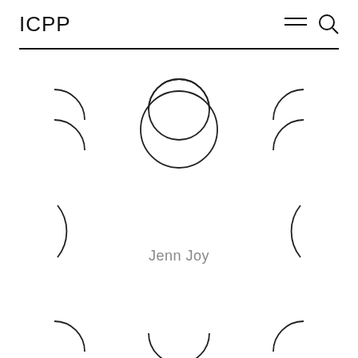ICPP
[Figure (illustration): Grid of partial circle arcs (crescent/bracket shapes) arranged in a 3-column, 4-row pattern. The center circle in the second row is a full circle. Other shapes are partial arcs showing various orientations — right-facing, left-facing, bottom arcs. A name label 'Jenn Joy' appears in the center of the third row.]
Jenn Joy